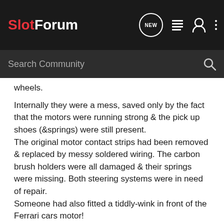SlotForum
Search Community
wheels.
Internally they were a mess, saved only by the fact that the motors were running strong & the pick up shoes (&springs) were still present.
The original motor contact strips had been removed & replaced by messy soldered wiring. The carbon brush holders were all damaged & their springs were missing. Both steering systems were in need of repair.
Someone had also fitted a tiddly-wink in front of the Ferrari cars motor!
It proved very easy removing the solder, clean up the motors & replacing the missing parts.
The bodies cleaned up lovely. I also painted the Ferrari driver.